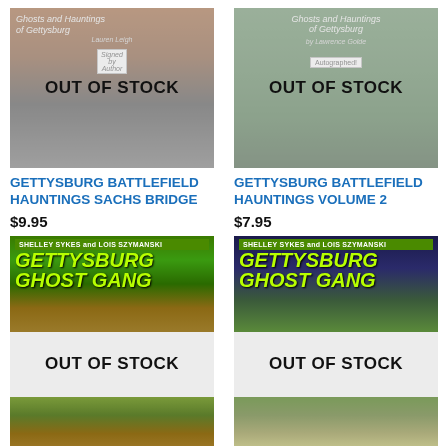[Figure (photo): Book product image for Gettysburg Battlefield Hauntings Sachs Bridge with OUT OF STOCK overlay]
[Figure (photo): Book product image for Gettysburg Battlefield Hauntings Volume 2 with OUT OF STOCK overlay]
GETTYSBURG BATTLEFIELD HAUNTINGS SACHS BRIDGE
$9.95
GETTYSBURG BATTLEFIELD HAUNTINGS VOLUME 2
$7.95
[Figure (photo): Gettysburg Ghost Gang book 1 cover with OUT OF STOCK overlay, by Shelley Sykes and Lois Szymanski]
[Figure (photo): Gettysburg Ghost Gang book 2 cover with OUT OF STOCK overlay, by Shelley Sykes and Lois Szymanski]